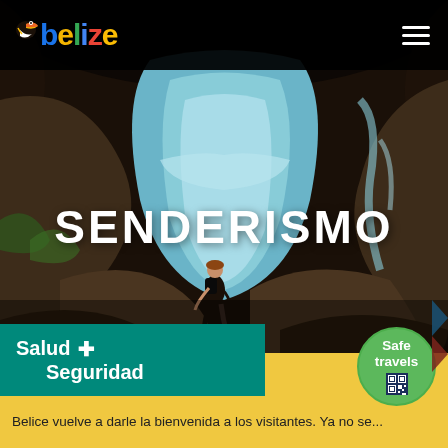[Figure (photo): Hero image of a hiker walking on rocky terrain near a waterfall/river in Belize, with dark rocky landscape and rushing water in background. Belize tourism website screenshot.]
belize [logo with toucan icon] [hamburger menu]
SENDERISMO
[Figure (logo): Teal banner with white text reading 'Salud [cross symbol] Seguridad' (Health and Safety)]
[Figure (logo): Green circular Safe Travels badge with QR code]
Belice vuelve a darle la bienvenida a los visitantes. Ya no se...